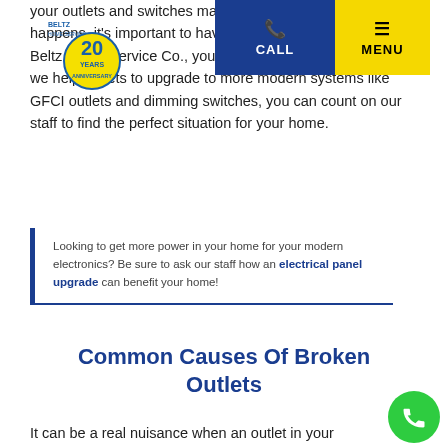your outlets and switches may break over time. When this happens, it's important to have a professional handle it. At Beltz Home Service Co., your reliable Firelands electrician, we help outlets to upgrade to more modern systems like GFCI outlets and dimming switches, you can count on our staff to find the perfect situation for your home.
[Figure (logo): Beltz Home Service Co. logo with 20 Years Anniversary badge]
[Figure (screenshot): Navigation bar with CALL button (blue) and MENU button (yellow)]
Looking to get more power in your home for your modern electronics? Be sure to ask our staff how an electrical panel upgrade can benefit your home!
Common Causes Of Broken Outlets
It can be a real nuisance when an outlet in your